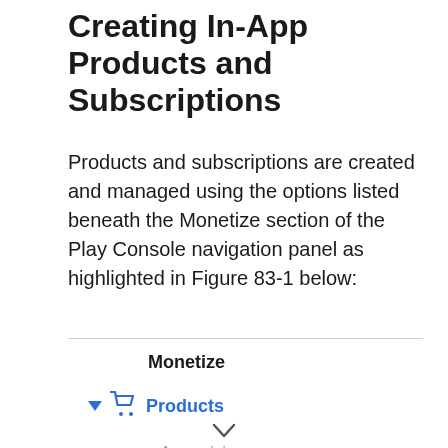Creating In-App Products and Subscriptions
Products and subscriptions are created and managed using the options listed beneath the Monetize section of the Play Console navigation panel as highlighted in Figure 83-1 below:
[Figure (screenshot): A screenshot of the Google Play Console navigation panel showing the Monetize section with 'Products' expanded (shown with a shopping cart icon and blue arrow), and a sub-item 'App pricing' listed below. The section heading 'Monetize' is in bold black text.]